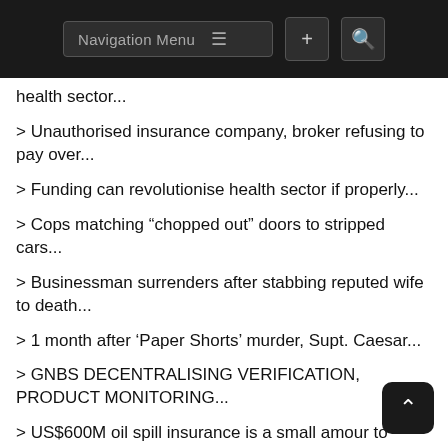Navigation Menu
> health sector...
> Unauthorised insurance company, broker refusing to pay over...
> Funding can revolutionise health sector if properly...
> Cops matching “chopped out” doors to stripped cars...
> Businessman surrenders after stabbing reputed wife to death...
> 1 month after ‘Paper Shorts’ murder, Supt. Caesar...
> GNBS DECENTRALISING VERIFICATION, PRODUCT MONITORING...
> US$600M oil spill insurance is a small amour to cover...
> FFTP donates specialised beds to Region 6